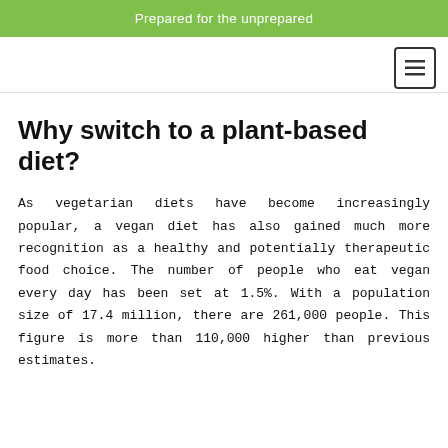Prepared for the unprepared
Why switch to a plant-based diet?
As vegetarian diets have become increasingly popular, a vegan diet has also gained much more recognition as a healthy and potentially therapeutic food choice. The number of people who eat vegan every day has been set at 1.5%. With a population size of 17.4 million, there are 261,000 people. This figure is more than 110,000 higher than previous estimates.